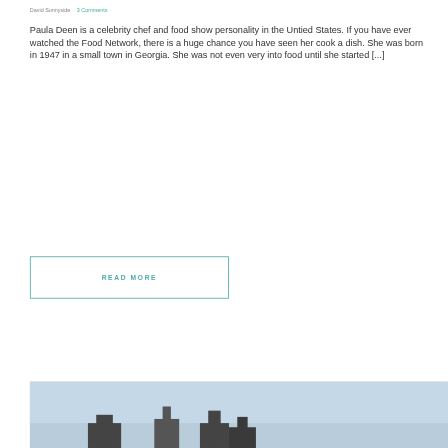David Sunnyside · 3 Comments
Paula Deen is a celebrity chef and food show personality in the Untied States. If you have ever watched the Food Network, there is a huge chance you have seen her cook a dish. She was born in 1947 in a small town in Georgia. She was not even very into food until she started [...]
READ MORE
[Figure (photo): Partial photo of a building or structure silhouette against a light blue sky, with a dark overlay badge showing 'June 26, 2014']